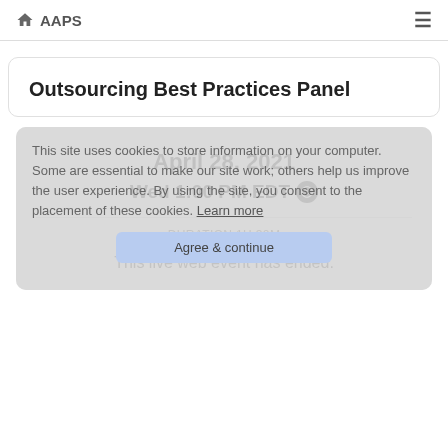AAPS
Outsourcing Best Practices Panel
April 28, 2021
Wed 1:00 PM EDT
DURATION 1H 30M
This live web event has ended.
This site uses cookies to store information on your computer. Some are essential to make our site work; others help us improve the user experience. By using the site, you consent to the placement of these cookies. Learn more